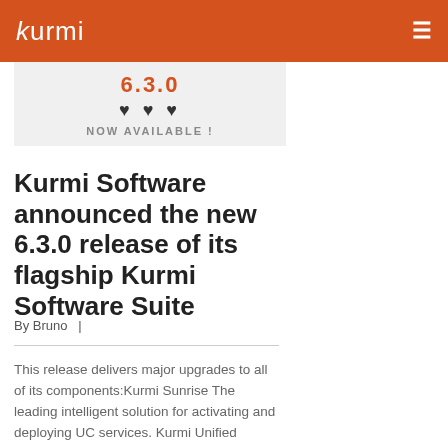kurmi
[Figure (other): Kurmi Software 6.3.0 release banner showing version number and NOW AVAILABLE! text on light grey background]
Kurmi Software announced the new 6.3.0 release of its flagship Kurmi Software Suite
By Bruno  |
This release delivers major upgrades to all of its components:Kurmi Sunrise The leading intelligent solution for activating and deploying UC services. Kurmi Unified Provisioning The user-centric solution to package and provision UC and other digital